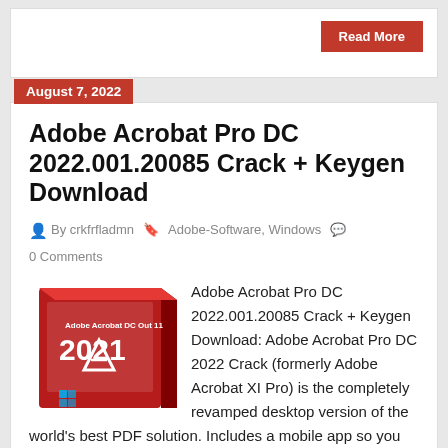Read More
August 7, 2022
Adobe Acrobat Pro DC 2022.001.20085 Crack + Keygen Download
By crkfrfladmn  Adobe-Software, Windows  0 Comments
[Figure (photo): Adobe Acrobat Pro DC 2021 software box product image, red packaging]
Adobe Acrobat Pro DC 2022.001.20085 Crack + Keygen Download: Adobe Acrobat Pro DC 2022 Crack (formerly Adobe Acrobat XI Pro) is the completely revamped desktop version of the world's best PDF solution. Includes a mobile app so you can fill out, sign, and share PDFs on any device. And with Document Cloud services, you can